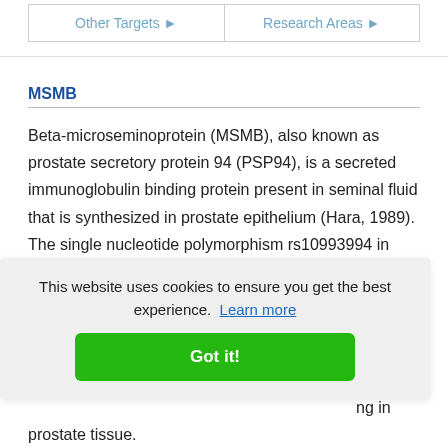[Figure (screenshot): Navigation buttons: 'Other Targets ▶' and 'Research Areas ▶']
MSMB
Beta-microseminoprotein (MSMB), also known as prostate secretory protein 94 (PSP94), is a secreted immunoglobulin binding protein present in seminal fluid that is synthesized in prostate epithelium (Hara, 1989). The single nucleotide polymorphism rs10993994 in [text obscured] ...te [text obscured] B plays a [text obscured] ...ia, [text obscured] ...ng in prostate tissue.
This website uses cookies to ensure you get the best experience. Learn more
Got it!